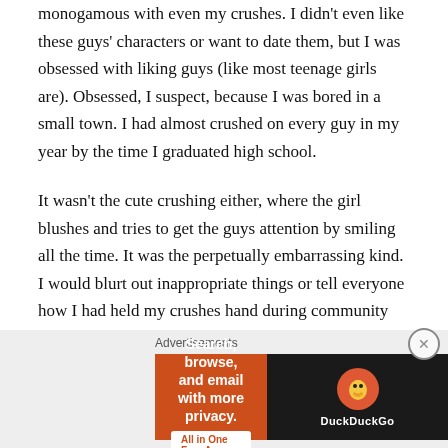monogamous with even my crushes. I didn't even like these guys' characters or want to date them, but I was obsessed with liking guys (like most teenage girls are). Obsessed, I suspect, because I was bored in a small town. I had almost crushed on every guy in my year by the time I graduated high school.
It wasn't the cute crushing either, where the girl blushes and tries to get the guys attention by smiling all the time. It was the perpetually embarrassing kind. I would blurt out inappropriate things or tell everyone how I had held my crushes hand during community prayer. Like everyone else, I was eternally grateful when high school was over. My crushes during my high school years never developed
[Figure (screenshot): DuckDuckGo advertisement banner: orange left panel reading 'Search, browse, and email with more privacy. All in One Free App' with white button, and dark right panel with DuckDuckGo logo and name.]